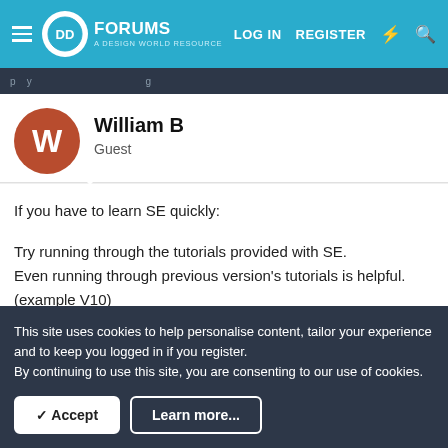FORUMS — LOG IN  REGISTER
William B
Guest
If you have to learn SE quickly:

Try running through the tutorials provided with SE.
Even running through previous version's tutorials is helpful.
(example V10)
It does give you a great overview of how SE works.
This site uses cookies to help personalise content, tailor your experience and to keep you logged in if you register.
By continuing to use this site, you are consenting to our use of cookies.